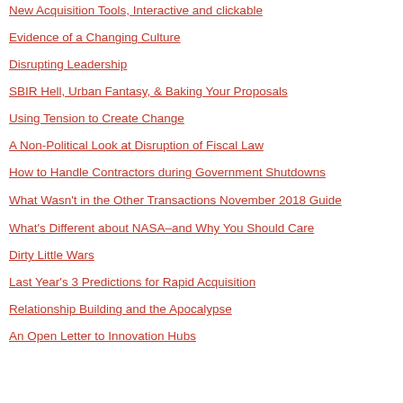New Acquisition Tools, Interactive and clickable
Evidence of a Changing Culture
Disrupting Leadership
SBIR Hell, Urban Fantasy, & Baking Your Proposals
Using Tension to Create Change
A Non-Political Look at Disruption of Fiscal Law
How to Handle Contractors during Government Shutdowns
What Wasn't in the Other Transactions November 2018 Guide
What's Different about NASA–and Why You Should Care
Dirty Little Wars
Last Year's 3 Predictions for Rapid Acquisition
Relationship Building and the Apocalypse
An Open Letter to Innovation Hubs